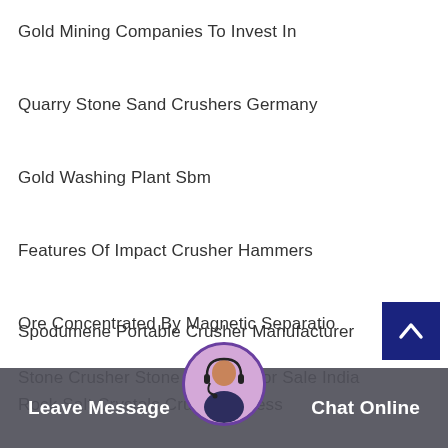Gold Mining Companies To Invest In
Quarry Stone Sand Crushers Germany
Gold Washing Plant Sbm
Features Of Impact Crusher Hammers
Ore Concentrated By Magnetic Separatio
Spodumene Portable Crusher Manufacturer
Stone Crusher Stone Crusher For Sale India
Rock Salt Crystals Crus... dress
Leave Message   Chat Online